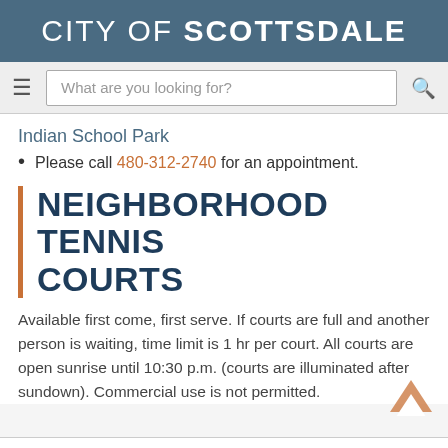CITY OF SCOTTSDALE
[Figure (screenshot): Navigation bar with hamburger menu, search box reading 'What are you looking for?', and search icon]
Indian School Park
Please call 480-312-2740 for an appointment.
NEIGHBORHOOD TENNIS COURTS
Available first come, first serve. If courts are full and another person is waiting, time limit is 1 hr per court. All courts are open sunrise until 10:30 p.m. (courts are illuminated after sundown). Commercial use is not permitted.